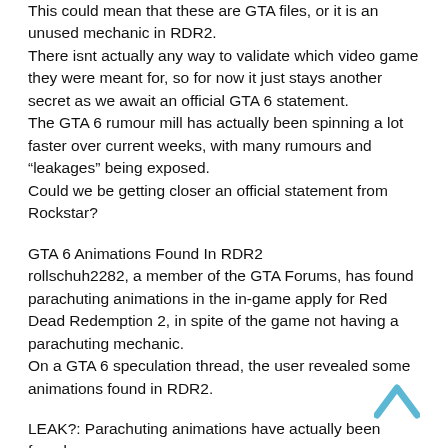This could mean that these are GTA files, or it is an unused mechanic in RDR2.
There isnt actually any way to validate which video game they were meant for, so for now it just stays another secret as we await an official GTA 6 statement.
The GTA 6 rumour mill has actually been spinning a lot faster over current weeks, with many rumours and “leakages” being exposed.
Could we be getting closer an official statement from Rockstar?
GTA 6 Animations Found In RDR2
rollschuh2282, a member of the GTA Forums, has found parachuting animations in the in-game apply for Red Dead Redemption 2, in spite of the game not having a parachuting mechanic.
On a GTA 6 speculation thread, the user revealed some animations found in RDR2.
LEAK?: Parachuting animations have actually been found